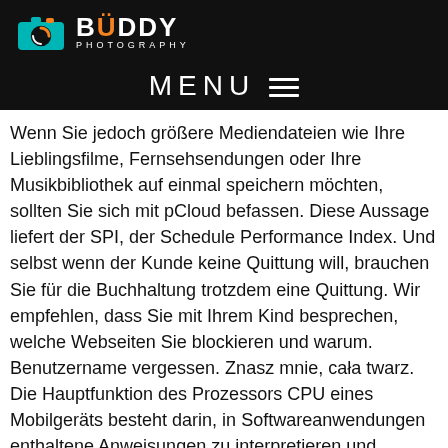[Figure (logo): Buddy Photography logo with camera icon, teal and orange colors, on black background bar, with MENU hamburger navigation below]
Wenn Sie jedoch größere Mediendateien wie Ihre Lieblingsfilme, Fernsehsendungen oder Ihre Musikbibliothek auf einmal speichern möchten, sollten Sie sich mit pCloud befassen. Diese Aussage liefert der SPI, der Schedule Performance Index. Und selbst wenn der Kunde keine Quittung will, brauchen Sie für die Buchhaltung trotzdem eine Quittung. Wir empfehlen, dass Sie mit Ihrem Kind besprechen, welche Webseiten Sie blockieren und warum. Benutzername vergessen. Znasz mnie, cała twarz. Die Hauptfunktion des Prozessors CPU eines Mobilgeräts besteht darin, in Softwareanwendungen enthaltene Anweisungen zu interpretieren und auszuführen. Amazon Kundenbewertung. Der 3DS ist meine software technisch stärkste Konsole. Support for newer versions. 2 Virtueller Speicher und Hardware Caches2. Sie können Antworten und Direktnachrichten mit einem Link anzeigen, jedoch nicht in der Zeitleiste, wie andere Kunden dies zulassen. Five Nights at Freddy's 4. Es ist erst möglich nach